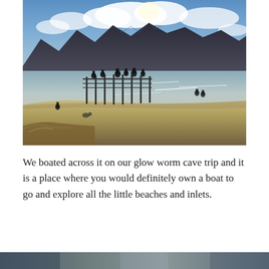[Figure (photo): A lakeside beach scene with a wooden pier/dock extending into calm water. Several people silhouetted on the dock and in the water. Mountains in the background under a partly cloudy sky. Sandy/pebbly beach in the foreground with some dry grass.]
We boated across it on our glow worm cave trip and it is a place where you would definitely own a boat to go and explore all the little beaches and inlets.
[Figure (photo): Partial view of another photograph at the bottom of the page, partially cropped.]